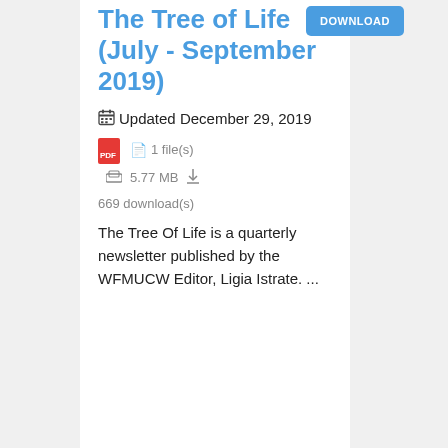The Tree of Life (July - September 2019)
Updated December 29, 2019
1 file(s)
5.77 MB
669 download(s)
The Tree Of Life is a quarterly newsletter published by the WFMUCW Editor, Ligia Istrate. ...